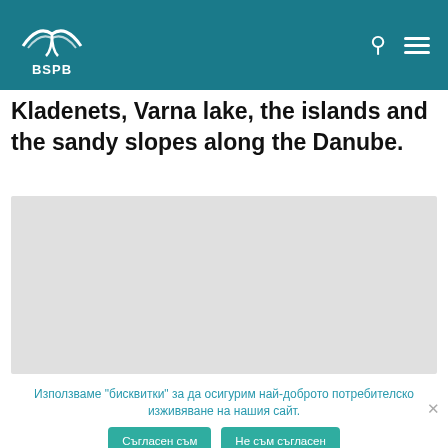BSPB
Kladenets, Varna lake, the islands and the sandy slopes along the Danube.
[Figure (photo): Gray placeholder image area for a photo]
Използваме "бисквитки" за да осигурим най-доброто потребителско изживяване на нашия сайт.
Съгласен съм | Не съм съгласен | Политика за личните данни